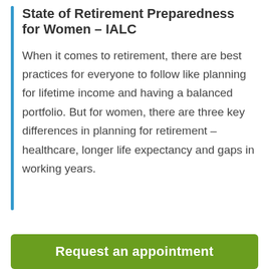State of Retirement Preparedness for Women – IALC
When it comes to retirement, there are best practices for everyone to follow like planning for lifetime income and having a balanced portfolio. But for women, there are three key differences in planning for retirement – healthcare, longer life expectancy and gaps in working years.
Request an appointment